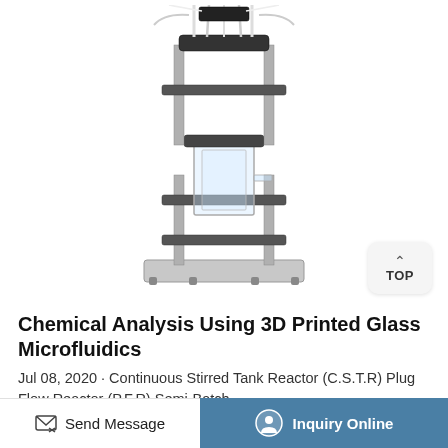[Figure (photo): Laboratory glass chemical reactor on a stainless steel stand with multiple tubes and fittings connected at the top, mounted on a rectangular metal base plate]
Chemical Analysis Using 3D Printed Glass Microfluidics
Jul 08, 2020 · Continuous Stirred Tank Reactor (C.S.T.R) Plug Flow Reactor (P.F.R) Semi-Batch
Send Message
Inquiry Online